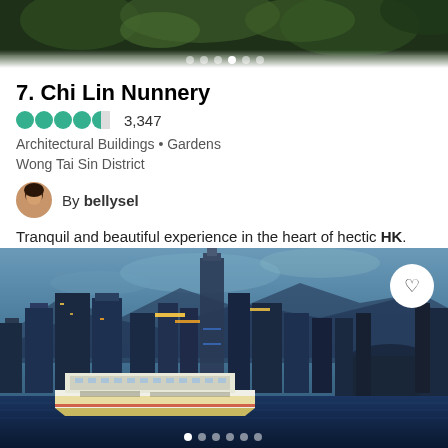[Figure (photo): Top portion of a nature/garden photo, partially cropped, with navigation dots overlay at bottom]
7. Chi Lin Nunnery
3,347 (rating: 4.5 stars)
Architectural Buildings • Gardens
Wong Tai Sin District
By bellysel
Tranquil and beautiful experience in the heart of hectic HK.
[Figure (photo): Hong Kong skyline at dusk/night with Victoria Harbour in foreground, a ferry (First Ferry) visible in the water, tall skyscrapers and mountains in background, heart/save button in top right corner, navigation dots at bottom]